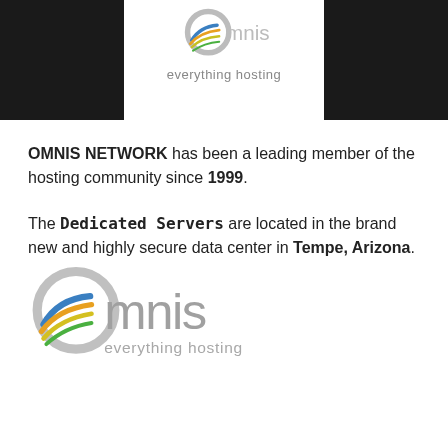[Figure (logo): Omnis Network logo in header - partial view showing 'everything hosting' tagline on white box against dark background]
OMNIS NETWORK has been a leading member of the hosting community since 1999.
The Dedicated Servers are located in the brand new and highly secure data center in Tempe, Arizona.
[Figure (logo): Omnis Network logo - circular 'o' with colorful swoosh stripes (blue, orange, yellow, green), text 'omnis' in grey, tagline 'everything hosting' below]